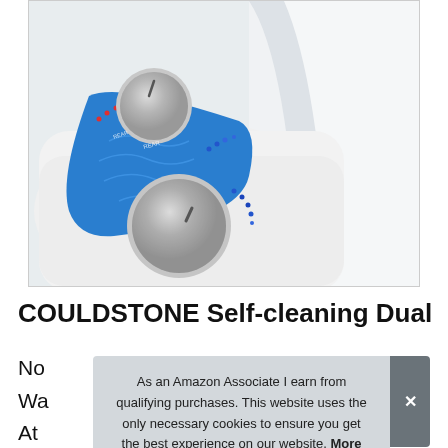[Figure (photo): Close-up product photo of a bidet toilet seat attachment showing two silver control knobs on a white body with blue decorative panel. The bidet is mounted on a white toilet seat.]
COULDSTONE Self-cleaning Dual
No
Wa
At
As an Amazon Associate I earn from qualifying purchases. This website uses the only necessary cookies to ensure you get the best experience on our website. More information